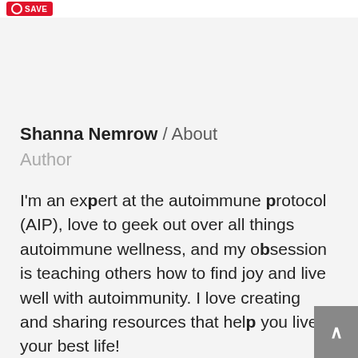SAVE
Shanna Nemrow / About Author
I'm an expert at the autoimmune protocol (AIP), love to geek out over all things autoimmune wellness, and my obsession is teaching others how to find joy and live well with autoimmunity. I love creating and sharing resources that help you live your best life!